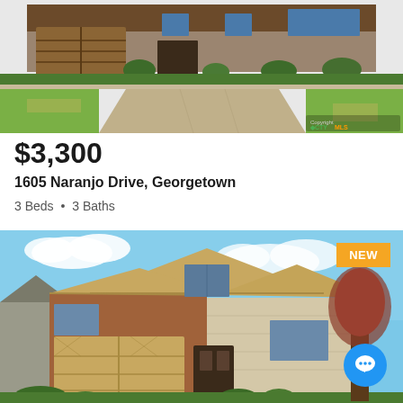[Figure (photo): Exterior photo of a house with brick facade, double garage door, green lawn and driveway. CTYMLS watermark in bottom right.]
$3,300
1605 Naranjo Drive, Georgetown
3 Beds • 3 Baths
[Figure (photo): Exterior photo of a two-story brick and stone house with NEW badge in upper right corner and a blue chat bubble button in lower right.]